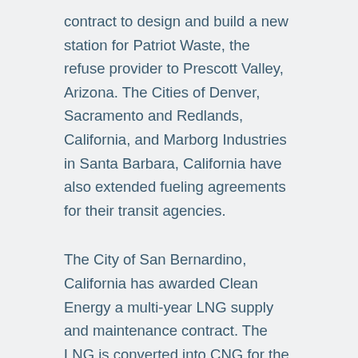contract to design and build a new station for Patriot Waste, the refuse provider to Prescott Valley, Arizona. The Cities of Denver, Sacramento and Redlands, California, and Marborg Industries in Santa Barbara, California have also extended fueling agreements for their transit agencies.
The City of San Bernardino, California has awarded Clean Energy a multi-year LNG supply and maintenance contract. The LNG is converted into CNG for the City's public fueling station which is utilized by many neighboring CNG school bus and refuse fleets.
The fueling contracts and maintenance agreements